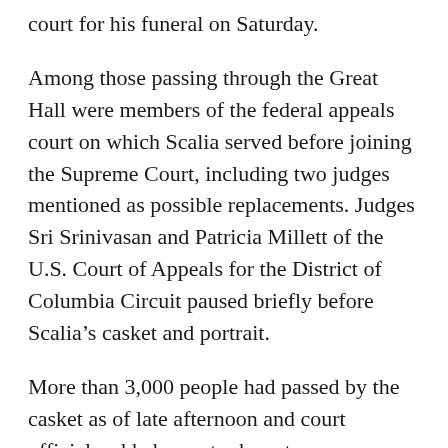court for his funeral on Saturday.
Among those passing through the Great Hall were members of the federal appeals court on which Scalia served before joining the Supreme Court, including two judges mentioned as possible replacements. Judges Sri Srinivasan and Patricia Millett of the U.S. Court of Appeals for the District of Columbia Circuit paused briefly before Scalia’s casket and portrait.
More than 3,000 people had passed by the casket as of late afternoon and court officials added an extra hour to accommodate the long lines that stretched more than three blocks in the early evening. At one point, the wait topped 3½ hours, mainly because the public was not allowed in for a time because of the Obamas’ visit.